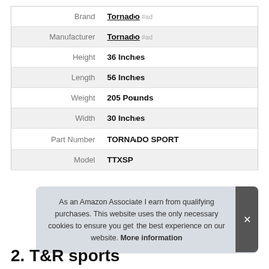| Label | Value |
| --- | --- |
| Brand | Tornado #ad |
| Manufacturer | Tornado #ad |
| Height | 36 Inches |
| Length | 56 Inches |
| Weight | 205 Pounds |
| Width | 30 Inches |
| Part Number | TORNADO SPORT |
| Model | TTXSP |
As an Amazon Associate I earn from qualifying purchases. This website uses the only necessary cookies to ensure you get the best experience on our website. More information
2. T&R sports